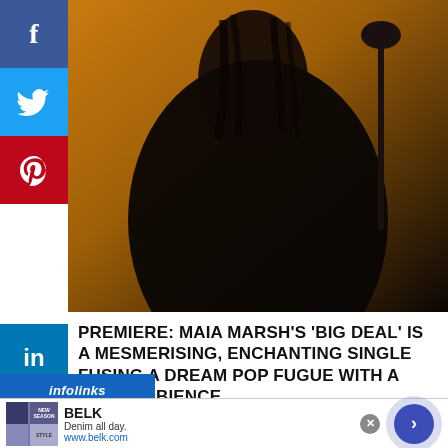[Figure (photo): Screenshot of a music blog article page showing a photo of Maia Marsh (dark-haired person in black clothing against an orange background) with social media share buttons on the left sidebar (Facebook, Twitter, Pinterest, LinkedIn, Tumblr).]
PREMIERE: MAIA MARSH'S 'BIG DEAL' IS A MESMERISING, ENCHANTING SINGLE FUSING A DREAM POP FUGUE WITH A FOLK AMBIENCE.
[Figure (screenshot): Infolinks advertisement banner for BELK showing 'Denim all day.' tagline and www.belk.com URL with product images and a navigation arrow.]